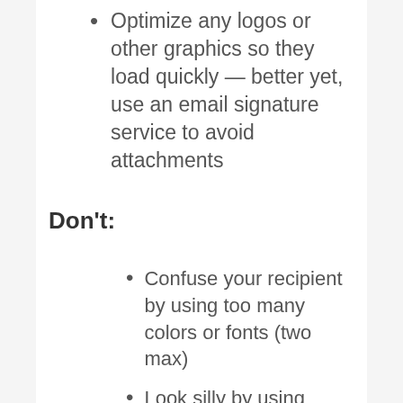Optimize any logos or other graphics so they load quickly — better yet, use an email signature service to avoid attachments
Don't:
Confuse your recipient by using too many colors or fonts (two max)
Look silly by using animations or including personal contact information